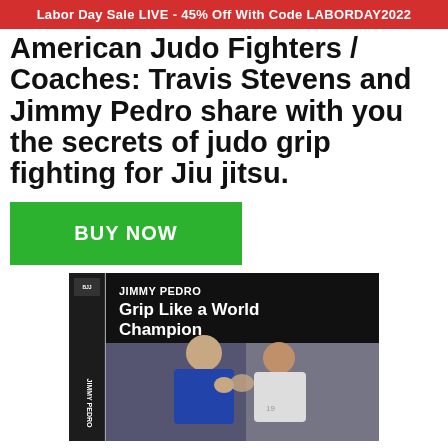Labor Day Sale LIVE - 45% Off With Code LABORDAY2022
American Judo Fighters / Coaches: Travis Stevens and Jimmy Pedro share with you the secrets of judo grip fighting for Jiu jitsu.
BUY NOW
[Figure (photo): Book cover for 'Jimmy Pedro: Grip Like a World Champion' showing two judo fighters gripping each other, with book spine showing 'JIMMY PEDRO' text vertically.]